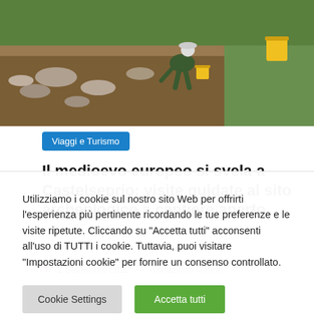[Figure (photo): Person crouching at an archaeological excavation site, digging among rocks and soil.]
Viaggi e Turismo
Il medioevo europeo si svela a Castelseprio: visite guidate al sito archeologico a cantiere aperto
2 Settembre 2022   Redazione Milano
Utilizziamo i cookie sul nostro sito Web per offrirti l'esperienza più pertinente ricordando le tue preferenze e le visite ripetute. Cliccando su "Accetta tutti" acconsenti all'uso di TUTTI i cookie. Tuttavia, puoi visitare "Impostazioni cookie" per fornire un consenso controllato.
Cookie Settings   Accetta tutti